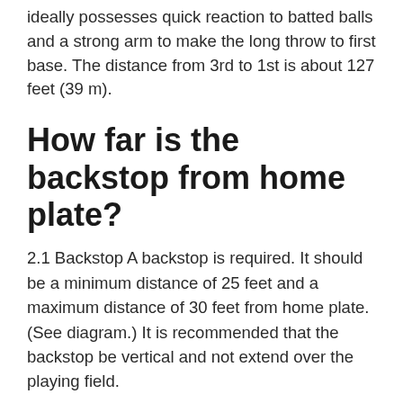ideally possesses quick reaction to batted balls and a strong arm to make the long throw to first base. The distance from 3rd to 1st is about 127 feet (39 m).
How far is the backstop from home plate?
2.1 Backstop A backstop is required. It should be a minimum distance of 25 feet and a maximum distance of 30 feet from home plate. (See diagram.) It is recommended that the backstop be vertical and not extend over the playing field.
Why is a baseball field called a diamond?